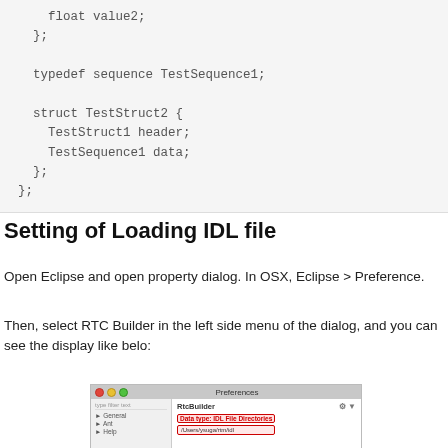float value2;
  };

  typedef sequence TestSequence1;

  struct TestStruct2 {
    TestStruct1 header;
    TestSequence1 data;
  };
};
Setting of Loading IDL file
Open Eclipse and open property dialog. In OSX, Eclipse > Preference.
Then, select RTC Builder in the left side menu of the dialog, and you can see the display like belo:
[Figure (screenshot): Screenshot of Eclipse Preferences dialog showing RtcBuilder panel with Data type IDL File Directories field containing /Users/ysuga/rtm/idl]